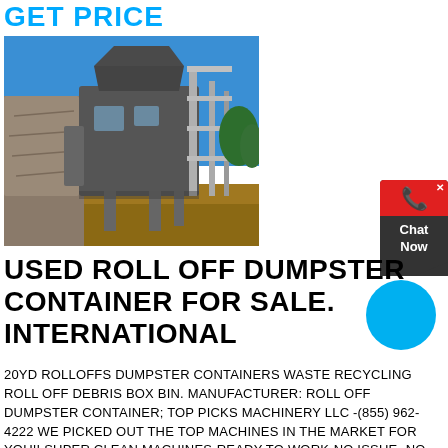GET PRICE
[Figure (photo): Outdoor industrial machinery / heavy equipment on a construction or mining site, with metal framework, conveyors, and structures against a blue sky.]
[Figure (other): Chat Now widget with red top and dark body, and a blue circular button.]
USED ROLL OFF DUMPSTER CONTAINER FOR SALE. INTERNATIONAL
20YD ROLLOFFS DUMPSTER CONTAINERS WASTE RECYCLING ROLL OFF DEBRIS BOX BIN. MANUFACTURER: ROLL OFF DUMPSTER CONTAINER; TOP PICKS MACHINERY LLC -(855) 962-4222 WE PICKED OUT THE TOP MACHINES IN THE MARKET FOR YOU!! SUPER CLEAN MACHINES-READY TO WORK-NO ISSUE -NO LEAKS WE HAVE FINANCING SOLUTIONS FOR ALL CREDIT TYPE